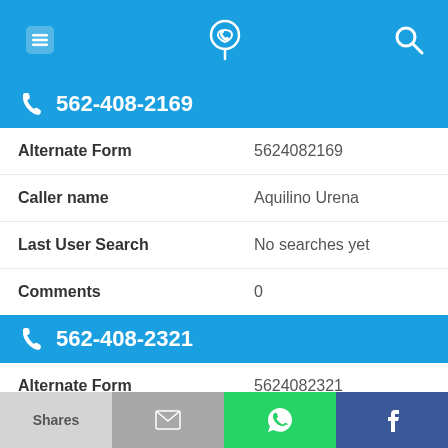Navigation bar with menu, phone locator, and search icons
562-408-2169
| Field | Value |
| --- | --- |
| Alternate Form | 5624082169 |
| Caller name | Aquilino Urena |
| Last User Search | No searches yet |
| Comments | 0 |
562-408-2321
| Field | Value |
| --- | --- |
| Alternate Form | 5624082321 |
Shares | Email | WhatsApp | Facebook